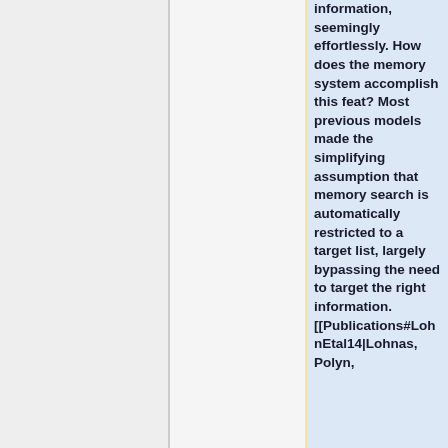information, seemingly effortlessly. How does the memory system accomplish this feat? Most previous models made the simplifying assumption that memory search is automatically restricted to a target list, largely bypassing the need to target the right information. [[Publications#LohnEtal14|Lohnas, Polyn,